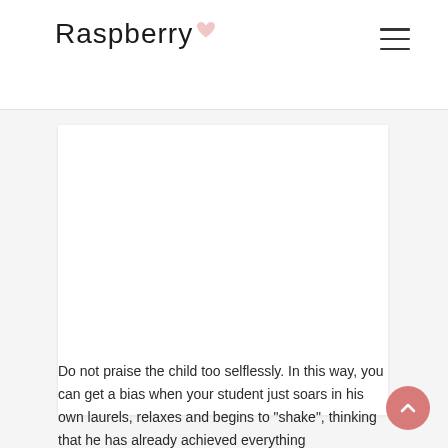Raspberry
[Figure (other): White content box / image placeholder area]
Do not praise the child too selflessly. In this way, you can get a bias when your student just soars in his own laurels, relaxes and begins to “shake”, thinking that he has already achieved everything